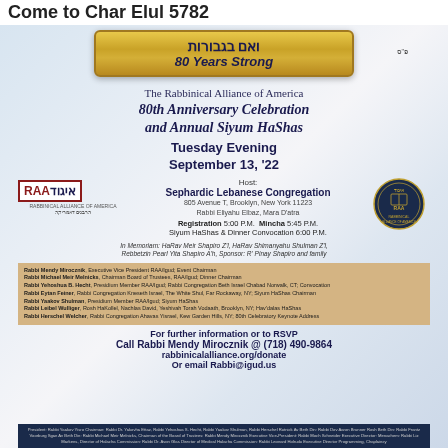Come to Char Elul 5782
ואם בגבורות
80 Years Strong
The Rabbinical Alliance of America
80th Anniversary Celebration and Annual Siyum HaShas
Tuesday Evening
September 13, '22
Host:
Sephardic Lebanese Congregation
805 Avenue T, Brooklyn, New York 11223
Rabbi Eliyahu Elbaz, Mara D'atra
Registration 5:00 P.M.  Mincha 5:45 P.M.
Siyum HaShas & Dinner Convocation 6:00 P.M.
In Memoriam: HaRav Meir Shapiro Z'l, HaRav Shimanyahu Shulman Z'l,
Rebbetzin Pearl Yita Shapiro A'h, Sponsor: R' Pinay Shapiro and family
Rabbi Mendy Mirocznik, Executive Vice President RAA/Igud; Event Chairman
Rabbi Michael Meir Melnicks, Chairman Board of Trustees, RAA/Igud; Dinner Chairman
Rabbi Yehoshua B. Hecht, Presidium Member RAA/Igud; Rabbi Congregation Beth Israel Chabad Norwalk, CT; Convocation
Rabbi Eytan Feiner, Rabbi Congregation Kneseth Israel, The White Shul, Far Rockaway, NY; Siyum HaShas Chairman
Rabbi Yaakov Shulman, Presidium Member RAA/Igud; Siyum HaShas
Rabbi Leibel Wulliger, Rosh HaKollel, Nachlas David, Yeshivah Torah Vodaath, Brooklyn, NY; Hav'dalas HaShas
Rabbi Herschel Welcher, Rabbi Congregation Ahavas Yisrael, Kew Garden Hills, NY; 80th Celebratory Keynote Address
For further information or to RSVP
Call Rabbi Mendy Mirocznik @ (718) 490-9864
rabbinicalalliance.org/donate
Or email Rabbi@igud.us
President: Rabbi Yaakov Yisro Chairman: Rabbi Dr. Yakovha Ettaz, Rabbi Yehoshua S. Hecht, Rabbi Yaakov Shulman, Rabbi Herschel Rutnick Av Beth Din: Rabbi Dov Aaron Brunner Rosh Beth Din: Rabbi Frantz Voorburg Sgan Av Beth Din: Rabbi Michael Meir Melnicks, Chairman of the Board of Trustees: Rabbi Mendy Mirocznik Executive Vice-President: Rabbi Moch Schneider Executive Director: Menachem: Rabbi Liz Markens, Director of Halacha Commission: Rabbi Dr. Avon Glas Director of Medical Halacha Commission: Rabbi Leonard Holrudu Executive Director Programming, Chaplaincy